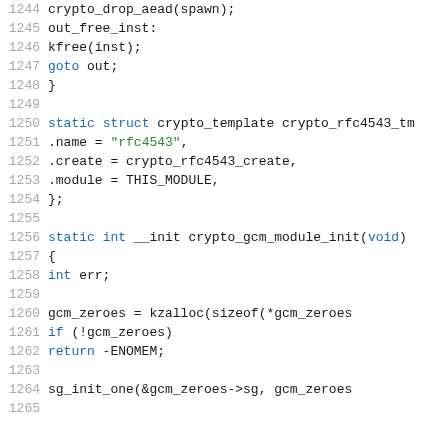[Figure (screenshot): Source code listing in C (Linux kernel crypto module), lines 1244-1265, showing crypto_drop_aead, out_free_inst label, kfree, goto out, static struct crypto_template crypto_rfc4543_tm with .name, .create, .module fields, static int __init crypto_gcm_module_init(void) function with int err, gcm_zeroes kzalloc, if (!gcm_zeroes) return -ENOMEM, sg_init_one call]